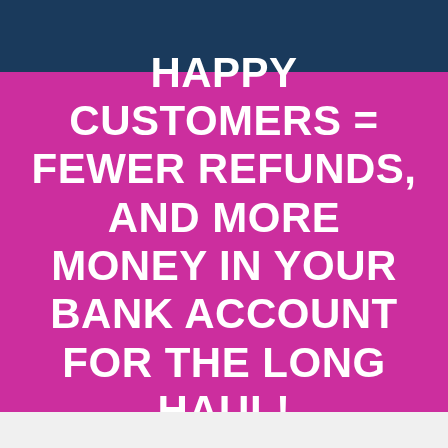HAPPY CUSTOMERS = FEWER REFUNDS, AND MORE MONEY IN YOUR BANK ACCOUNT FOR THE LONG HAUL!